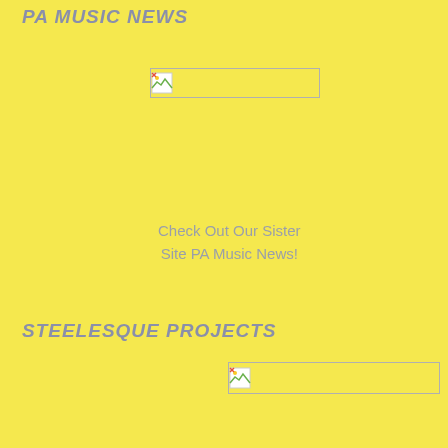PA MUSIC NEWS
[Figure (other): Broken image placeholder (banner/logo image that failed to load) for PA Music News section]
Check Out Our Sister Site PA Music News!
STEELESQUE PROJECTS
[Figure (other): Broken image placeholder (banner/logo image that failed to load) for Steelesque Projects section]